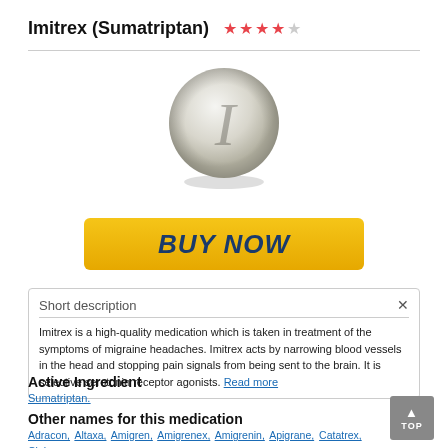Imitrex (Sumatriptan) ★★★★☆
[Figure (photo): Round white pill/tablet with an italic 'I' embossed on it, shown from above with slight 3D shading.]
[Figure (other): Yellow 'BUY NOW' button with dark blue bold italic text.]
Short description
Imitrex is a high-quality medication which is taken in treatment of the symptoms of migraine headaches. Imitrex acts by narrowing blood vessels in the head and stopping pain signals from being sent to the brain. It is selective serotonin receptor agonists. Read more
Active Ingredient
Sumatriptan.
Other names for this medication
Adracon, Altaxa, Amigren, Amigrenex, Amigrenin, Apigrane, Catatrex, Cinie, Dolorstad, Fermig, Finigraine, Forcet, Formigran, Helvemigran, Illument,